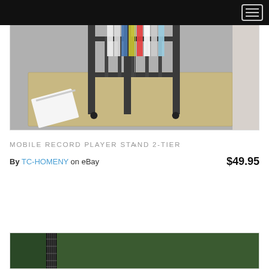[Figure (photo): A dark metal mobile record player stand with two tiers on casters, holding vinyl records, placed on a woven rug on a concrete floor.]
MOBILE RECORD PLAYER STAND 2-TIER
By TC-HOMENY on eBay   $49.95
[Figure (photo): Bottom portion of another product image showing a dark green background with what appears to be a guitar.]